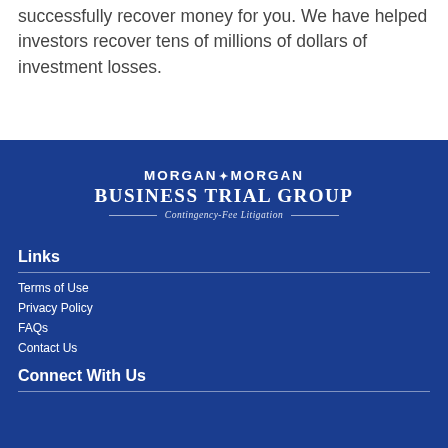successfully recover money for you. We have helped investors recover tens of millions of dollars of investment losses.
[Figure (logo): Morgan & Morgan Business Trial Group logo with tagline 'Contingency-Fee Litigation']
Links
Terms of Use
Privacy Policy
FAQs
Contact Us
Connect With Us